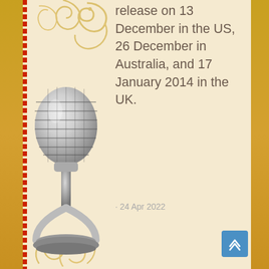release on 13 December in the US, 26 December in Australia, and 17 January 2014 in the UK.
· 24 Apr 2022
Plank · 24 Apr 2022
I work for a publishers http://www.dethstruck.com/stmap_37lbquli.html?